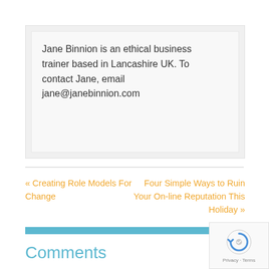Jane Binnion is an ethical business trainer based in Lancashire UK. To contact Jane, email jane@janebinnion.com
« Creating Role Models For Change
Four Simple Ways to Ruin Your On-line Reputation This Holiday »
Comments